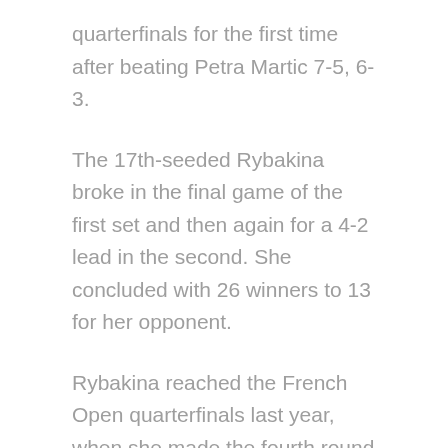quarterfinals for the first time after beating Petra Martic 7-5, 6-3.
The 17th-seeded Rybakina broke in the final game of the first set and then again for a 4-2 lead in the second. She concluded with 26 winners to 13 for her opponent.
Rybakina reached the French Open quarterfinals last year, when she made the fourth round at Wimbledon in her first appearance at the All England Club.
Martic was playing Wimbledon for the 10th time but has never been past the fourth round. Rybakina will next play Ajla Tomljanovic, who defeated Alize Cornet 4-6, 6-4, 6-3 on Monday.